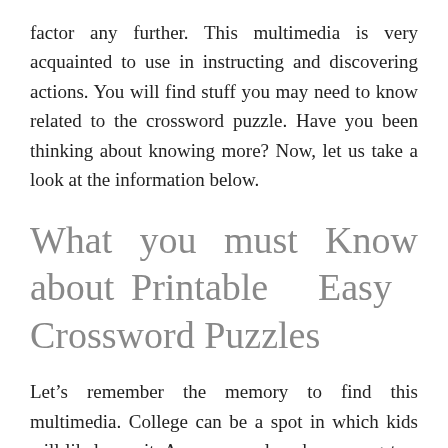factor any further. This multimedia is very acquainted to use in instructing and discovering actions. You will find stuff you may need to know related to the crossword puzzle. Have you been thinking about knowing more? Now, let us take a look at the information below.
What you must Know about Printable Easy Crossword Puzzles
Let's remember the memory to find this multimedia. College can be a spot in which kids will likely see it. As an example, when youngsters are discovering a terminology, they want various